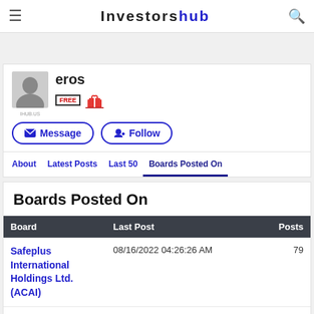InvestorsHub
eros
Message  Follow
About   Latest Posts   Last 50   Boards Posted On
Boards Posted On
| Board | Last Post | Posts |
| --- | --- | --- |
| Safeplus International Holdings Ltd. (ACAI) | 08/16/2022 04:26:26 AM | 79 |
| Algorand (ALGOUSD) | 12/01/2021 12:12:57 PM | 1 |